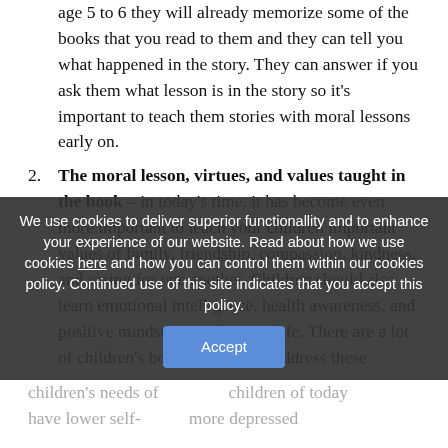age 5 to 6 they will already memorize some of the books that you read to them and they can tell you what happened in the story. They can answer if you ask them what lesson is in the story so it's important to teach them stories with moral lessons early on.
2. The moral lesson, virtues, and values taught in the book – in today's time, it has become even more important to teach your children important values of family, friendship, compassion, kindness, and caring for one another. Children should also learn emotional intelligence, health awareness, and positive mindset as early on in life. There are a lot of children's books that do not address these
We use cookies to deliver superior functionallity and to enhance your experience of our website. Read about how we use cookies here and how you can control them within our cookies policy. Continued use of this site indicates that you accept this policy.
Accept
children's needs of ... children of today have lower self-... more depressed